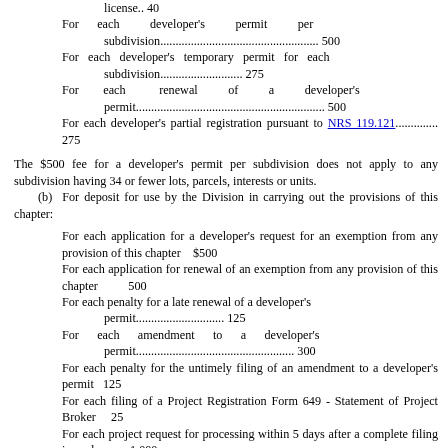license.. 40
For each developer's permit per subdivision................................................ 500
For each developer's temporary permit for each subdivision........................... 275
For each renewal of a developer's permit............................................................. 500
For each developer's partial registration pursuant to NRS 119.121.............. 275
The $500 fee for a developer's permit per subdivision does not apply to any subdivision having 34 or fewer lots, parcels, interests or units.
(b)  For deposit for use by the Division in carrying out the provisions of this chapter:
For each application for a developer's request for an exemption from any provision of this chapter   $500
For each application for renewal of an exemption from any provision of this chapter         500
For each penalty for a late renewal of a developer's permit............................. 125
For each amendment to a developer's permit.................................................... 300
For each penalty for the untimely filing of an amendment to a developer's permit   125
For each filing of a Project Registration Form 649 - Statement of Project Broker    25
For each project request for processing within 5 days after a complete filing is made         1,000
2.   At the time of the original filing, each developer shall pay an additional $5 for each lot, parcel, interest or unit in any one subdivision in excess of 50, but not exceeding 250 such lots, parcels, interests or units; $4 for 251 through 500 lots, parcels, interests or units in any one subdivision; $3 for 501 through 750